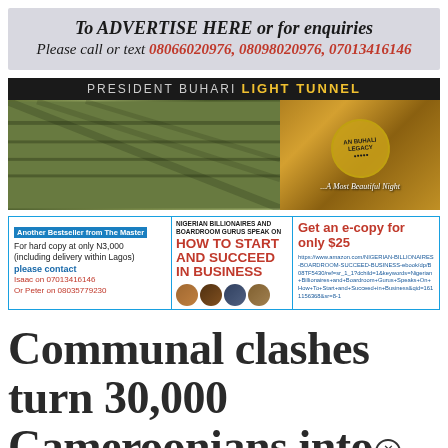[Figure (infographic): Advertisement banner: 'To ADVERTISE HERE or for enquiries Please call or text 08066020976, 08098020976, 07013416146']
[Figure (photo): President Buhari Light Tunnel banner with aerial construction photos and 'AN BUHALI LEGACY' badge on the right side]
[Figure (infographic): Book advertisement: 'Another Bestseller from The Master - Nigerian Billionaires and Boardroom Gurus Speak On HOW TO START AND SUCCEED IN BUSINESS' - hard copy N3,000 including delivery within Lagos, contact Isaac on 07013416146 or Peter on 08035779230. Get an e-copy for only $25 with Amazon link.]
Communal clashes turn 30,000 Cameroonians into refugees